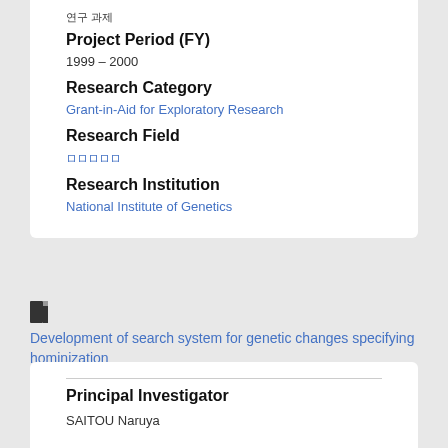연구 과제
Project Period (FY)
1999 – 2000
Research Category
Grant-in-Aid for Exploratory Research
Research Field
ロロロロロ
Research Institution
National Institute of Genetics
Development of search system for genetic changes specifying hominization
Principal Investigator
Principal Investigator
SAITOU Naruya